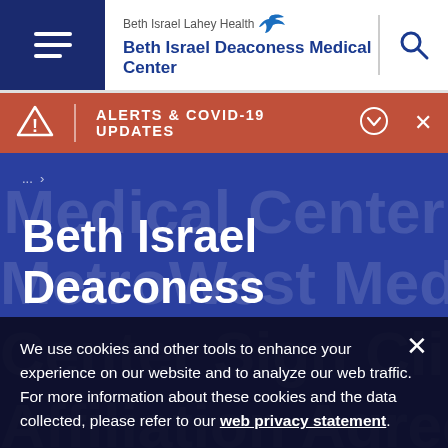Beth Israel Lahey Health — Beth Israel Deaconess Medical Center
ALERTS & COVID-19 UPDATES
Beth Israel Deaconess
Medical Center MetroWest Medical Center Sign Clinical Affiliation Agreement
We use cookies and other tools to enhance your experience on our website and to analyze our web traffic. For more information about these cookies and the data collected, please refer to our web privacy statement.